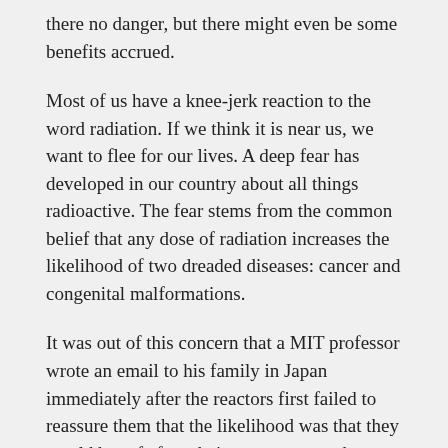there no danger, but there might even be some benefits accrued.
Most of us have a knee-jerk reaction to the word radiation. If we think it is near us, we want to flee for our lives. A deep fear has developed in our country about all things radioactive. The fear stems from the common belief that any dose of radiation increases the likelihood of two dreaded diseases: cancer and congenital malformations.
It was out of this concern that a MIT professor wrote an email to his family in Japan immediately after the reactors first failed to reassure them that the likelihood was that they would be safe from being over-exposed to radioactive material. Much to the surprise of the professor, the email went viral. The email is technical and very compelling – and states all the difficult-to-understand reasons why the threat for radioactive poisoning is not as great as people fear. Following that initial email, a group of MIT nuclear scientists have banded together to make